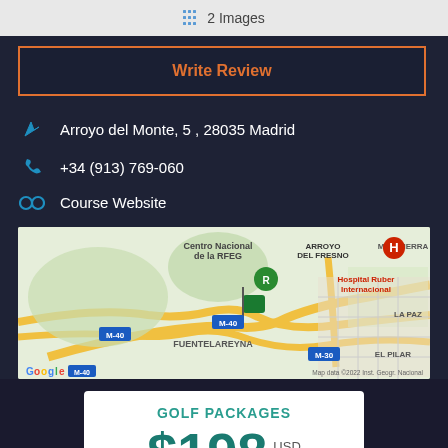2 Images
Write Review
Arroyo del Monte, 5 , 28035 Madrid
+34 (913) 769-060
Course Website
[Figure (map): Google Maps screenshot showing area around Arroyo del Monte, Madrid, including landmarks: Centro Nacional de la RFEG, Arroyo del Fresno, Mirasierra, Hospital Ruber Internacional, Fuentelareyna, La Paz, El Pilar, M-40, M-30 roads. Map data ©2022 Inst. Geogr. Nacional]
GOLF PACKAGES
$198 USD pp